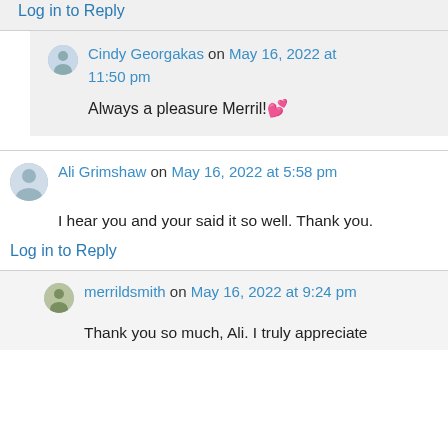Log in to Reply
Cindy Georgakas on May 16, 2022 at 11:50 pm
Always a pleasure Merril! 💕
Ali Grimshaw on May 16, 2022 at 5:58 pm
I hear you and your said it so well. Thank you.
Log in to Reply
merrildsmith on May 16, 2022 at 9:24 pm
Thank you so much, Ali. I truly appreciate